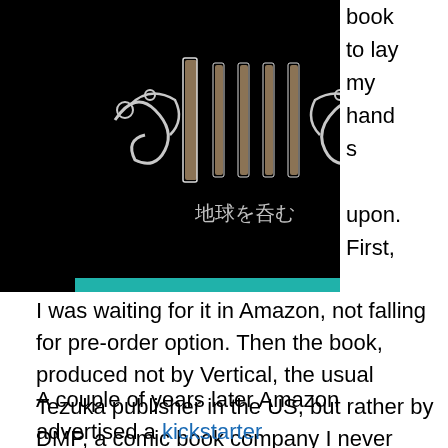[Figure (photo): Book cover on black background with decorative white/silver ornamental lettering and Japanese subtitle text '地球を呑む', with a teal bar at the bottom]
book to lay my hands upon. First,
I was waiting for it in Amazon, not falling for pre-order option. Then the book, produced not by Vertical, the usual Tezuka publisher in the US, but rather by DMP, a comic book company I never heard about, went out of stock in a matter of a few days, as quite few copies were published. All you could buy was a lousy used copy at least 5x the cover price. Hm, not for me.
A couple of years later Amazon advertised a kickstarter